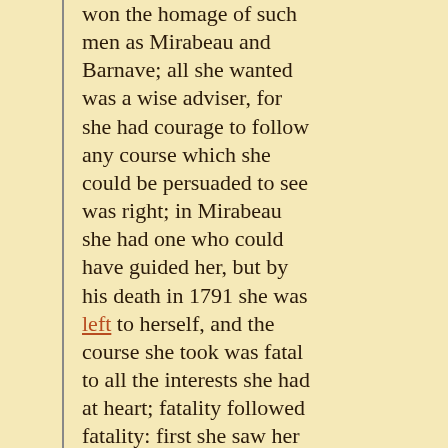won the homage of such men as Mirabeau and Barnave; all she wanted was a wise adviser, for she had courage to follow any course which she could be persuaded to see was right; in Mirabeau she had one who could have guided her, but by his death in 1791 she was left to herself, and the course she took was fatal to all the interests she had at heart; fatality followed fatality: first she saw her husband hurried off to the guillotine, and then she followed herself; hers, if any, was the most tragic of fates, and any one who has read that heart-moving apostrophe to her by Carlyle on the way to her doom must know and feel that it was her fate; she and her husband suffered as the representatives of the misgovernment of France for centuries before they were born, and were left a burden on their shoulders which they could not